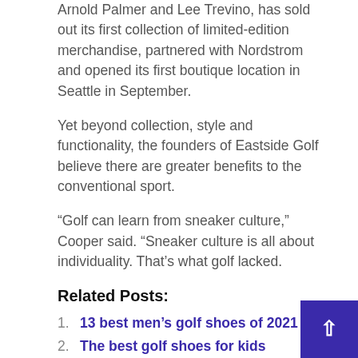Arnold Palmer and Lee Trevino, has sold out its first collection of limited-edition merchandise, partnered with Nordstrom and opened its first boutique location in Seattle in September.
Yet beyond collection, style and functionality, the founders of Eastside Golf believe there are greater benefits to the conventional sport.
“Golf can learn from sneaker culture,” Cooper said. “Sneaker culture is all about individuality. That’s what golf lacked.
Related Posts:
13 best men’s golf shoes of 2021
The best golf shoes for kids
Skechers has the perfect golf shoes for winter
PUMA Golf and Rickie Fowler launch new PROADAPT MID golf shoes